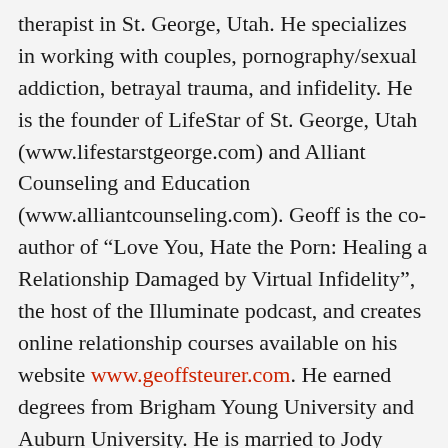therapist in St. George, Utah. He specializes in working with couples, pornography/sexual addiction, betrayal trauma, and infidelity. He is the founder of LifeStar of St. George, Utah (www.lifestarstgeorge.com) and Alliant Counseling and Education (www.alliantcounseling.com). Geoff is the co-author of “Love You, Hate the Porn: Healing a Relationship Damaged by Virtual Infidelity”, the host of the Illuminate podcast, and creates online relationship courses available on his website www.geoffsteurer.com. He earned degrees from Brigham Young University and Auburn University. He is married to Jody Young Steurer and they are the parents of four children.
You can connect with him at:
YouTube: https://www.youtube.com/channel/UCe97...